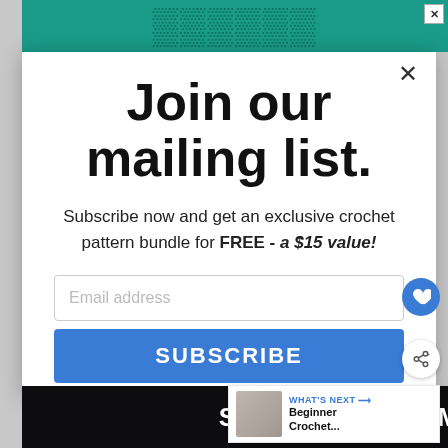[Figure (screenshot): Background ad strip at top with teal/green color and decorative text]
Join our mailing list.
Subscribe now and get an exclusive crochet pattern bundle for FREE - a $15 value!
Email address
SUBSCRIBE
WHAT'S NEXT → Beginner Crochet...
SHE CAN STEM